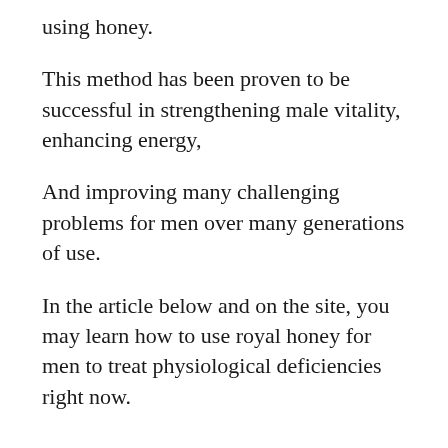using honey.
This method has been proven to be successful in strengthening male vitality, enhancing energy,
And improving many challenging problems for men over many generations of use.
In the article below and on the site, you may learn how to use royal honey for men to treat physiological deficiencies right now.